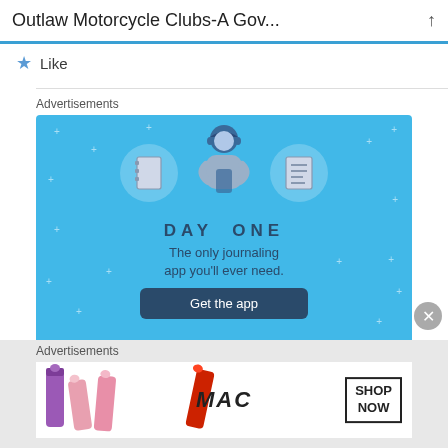Outlaw Motorcycle Clubs-A Gov...
Like
Advertisements
[Figure (illustration): DAY ONE app advertisement on blue background with icons of notebook, person holding phone, and list, text reads 'DAY ONE - The only journaling app you'll ever need.' with a 'Get the app' button]
Advertisements
[Figure (illustration): MAC cosmetics advertisement showing lipsticks in purple, pink, red with MAC logo and SHOP NOW button]